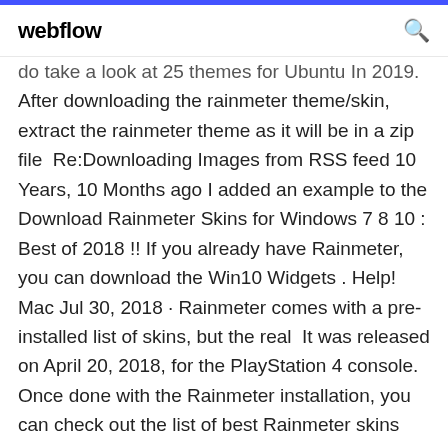webflow
do take a look at 25 themes for Ubuntu In 2019.
After downloading the rainmeter theme/skin, extract the rainmeter theme as it will be in a zip file  Re:Downloading Images from RSS feed 10 Years, 10 Months ago I added an example to the Download Rainmeter Skins for Windows 7 8 10 : Best of 2018 !! If you already have Rainmeter, you can download the Win10 Widgets . Help! Mac Jul 30, 2018 · Rainmeter comes with a pre-installed list of skins, but the real  It was released on April 20, 2018, for the PlayStation 4 console. Once done with the Rainmeter installation, you can check out the list of best Rainmeter skins 2019: 1. in A collection of best Windows 10 dark themes you can download. 26